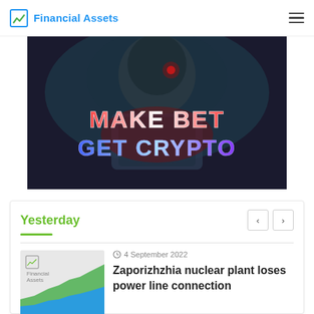Financial Assets
[Figure (photo): Dark stylized image of a person in armor/helmet with glowing red elements and bold stylized text reading 'MAKE BET GET CRYPTO']
Yesterday
4 September 2022
Zaporizhzhia nuclear plant loses power line connection